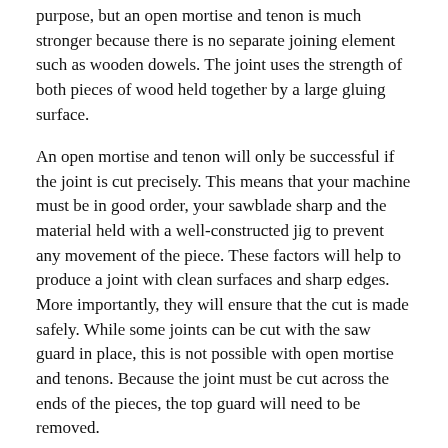purpose, but an open mortise and tenon is much stronger because there is no separate joining element such as wooden dowels. The joint uses the strength of both pieces of wood held together by a large gluing surface.
An open mortise and tenon will only be successful if the joint is cut precisely. This means that your machine must be in good order, your sawblade sharp and the material held with a well-constructed jig to prevent any movement of the piece. These factors will help to produce a joint with clean surfaces and sharp edges. More importantly, they will ensure that the cut is made safely. While some joints can be cut with the saw guard in place, this is not possible with open mortise and tenons. Because the joint must be cut across the ends of the pieces, the top guard will need to be removed.
Removing the top guard should only be done if absolutely necessary and only when the job has been well thought out. Australian standards for machine guarding are guidelines for manufacturers who almost always adopt them. Not doing so could lead to complicated explanations should an employee be injured in the workplace. These standards are not obligatory in the home workshop but are still a sound resource for safe woodworking. Austaralia standards state that if a machine guard is removed, you should provide alternative protection to at least the same level of